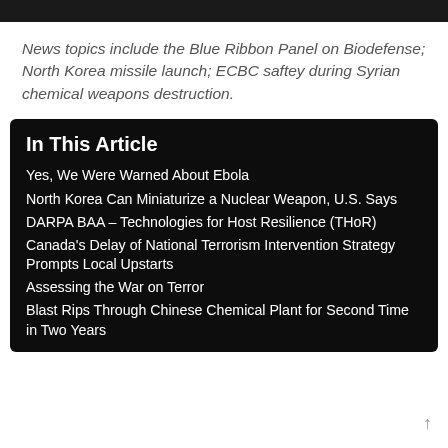News topics include the Blue Ribbon Panel on Biodefense; North Korea missile launch; ECBC saftey during Syrian chemical weapons destruction.
In This Article
Yes, We Were Warned About Ebola
North Korea Can Miniaturize a Nuclear Weapon, U.S. Says
DARPA BAA – Technologies for Host Resilience (THoR)
Canada's Delay of National Terrorism Intervention Strategy Prompts Local Upstarts
Assessing the War on Terror
Blast Rips Through Chinese Chemical Plant for Second Time in Two Years